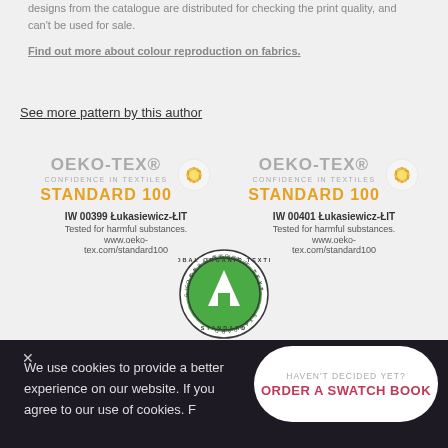designs from the catalogue are distributed for checking the print quality, and can't be used for sale.
Find out more about colour reproduction on fabrics.
See more pattern by this author
[Figure (logo): OEKO-TEX STANDARD 100 certification logo left - IW 00399 Łukasiewicz-ŁIT]
[Figure (logo): OEKO-TEX STANDARD 100 certification logo right - IW 00401 Łukasiewicz-ŁIT]
[Figure (logo): Global Organic Textile Standard (GOTS) circular logo]
We use cookies to provide a better experience on our website. If you agree to our use of cookies. F...
HAVEN'T DECIDED YET? ORDER A SWATCH BOOK